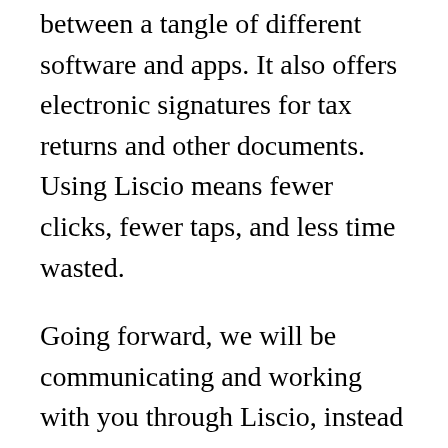between a tangle of different software and apps. It also offers electronic signatures for tax returns and other documents. Using Liscio means fewer clicks, fewer taps, and less time wasted.
Going forward, we will be communicating and working with you through Liscio, instead of email. Liscio not only improves our data security but they also bring communication, file sharing, electronic signatures and storage together in one, convenient place; allowing you to work on the go.